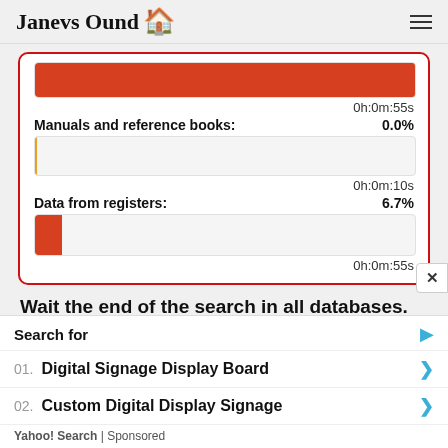Janevs Ound 🏠
[Figure (screenshot): Progress bars card with red border showing database search progress. Top partial bar (red, ~100% fill), 0h:0m:55s. Manuals and reference books: 0.0%, orange bar (empty), 0h:0m:10s. Data from registers: 6.7%, red bar (~7% fill), 0h:0m:55s.]
Wait the end of the search in all databases.
Search for
01. Digital Signage Display Board
02. Custom Digital Display Signage
Yahoo! Search | Sponsored